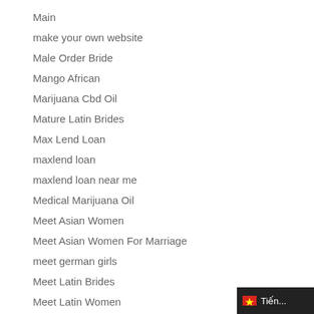Main
make your own website
Male Order Bride
Mango African
Marijuana Cbd Oil
Mature Latin Brides
Max Lend Loan
maxlend loan
maxlend loan near me
Medical Marijuana Oil
Meet Asian Women
Meet Asian Women For Marriage
meet german girls
Meet Latin Brides
Meet Latin Women